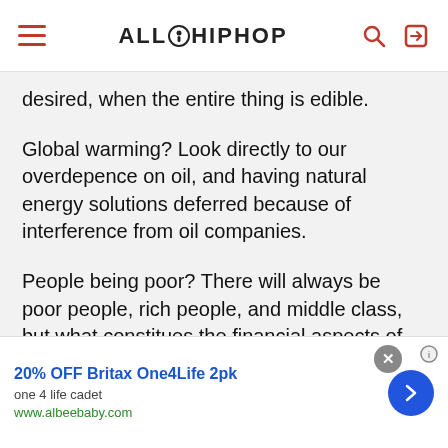ALL HIP HOP
desired, when the entire thing is edible.
Global warming? Look directly to our overdepence on oil, and having natural energy solutions deferred because of interference from oil companies.
People being poor? There will always be poor people, rich people, and middle class, but what constitues the financial aspects of each are wildly changing because the rich and corporations are 😡 the world.
Overpopulation isn't a myth, but if we took care
[Figure (screenshot): Advertisement banner: 20% OFF Britax One4Life 2pk, one 4 life cadet, www.albeebaby.com]